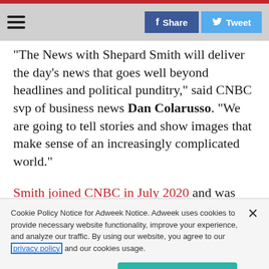Navigation bar with hamburger menu, Facebook Share button, Twitter Tweet button
“The News with Shepard Smith will deliver the day’s news that goes well beyond headlines and political punditry,” said CNBC svp of business news Dan Colarusso. “We are going to tell stories and show images that make sense of an increasingly complicated world.”
Smith joined CNBC in July 2020 and was named
Cookie Policy Notice for Adweek Notice. Adweek uses cookies to provide necessary website functionality, improve your experience, and analyze our traffic. By using our website, you agree to our privacy policy and our cookies usage.
Cookies Settings | Accept All Cookies